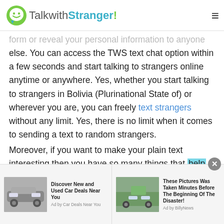TalkwithStranger!
form or reveal your personal information to anyone else. You can access the TWS text chat option within a few seconds and start talking to strangers online anytime or anywhere. Yes, whether you start talking to strangers in Bolivia (Plurinational State of) or wherever you are, you can freely text strangers without any limit. Yes, there is no limit when it comes to sending a text to random strangers.

Moreover, if you want to make your plain text interesting then you have so many things that help you spice up your conversation. For instance, you can
[Figure (screenshot): Advertisement bar with two ad items: 'Discover New and Used Car Deals Near You' by Car Deals Near You, and 'These Pictures Was Taken Minutes Before The Beginning Of The Disaster!' by Ad by BillyNews]